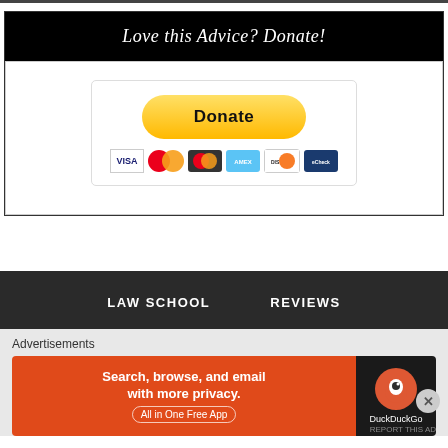Love this Advice? Donate!
[Figure (other): PayPal Donate button with accepted payment card icons including Visa, Mastercard, Amex, Discover]
LAW SCHOOL
REVIEWS
Advertisements
[Figure (screenshot): DuckDuckGo advertisement banner: Search, browse, and email with more privacy. All in One Free App. DuckDuckGo logo on dark background.]